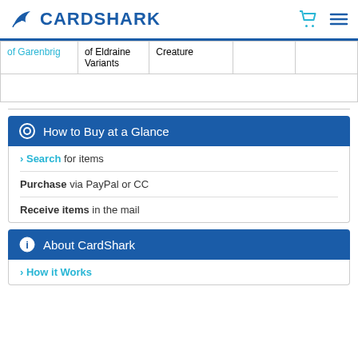CardShark
| of Garenbrig | of Eldraine Variants | Creature |  |  |
|  |  |  |  |  |
How to Buy at a Glance
Search for items
Purchase via PayPal or CC
Receive items in the mail
About CardShark
How it Works